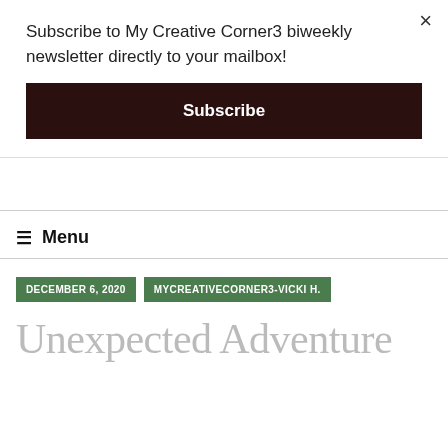Subscribe to My Creative Corner3 biweekly newsletter directly to your mailbox!
Subscribe
× (close button)
≡ Menu
DECEMBER 6, 2020
MYCREATIVECORNER3-VICKI H.
Unexpected Adventure